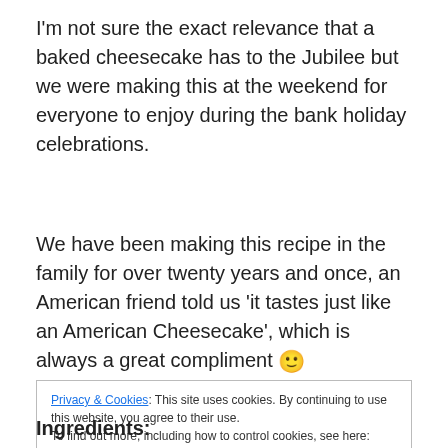I'm not sure the exact relevance that a baked cheesecake has to the Jubilee but we were making this at the weekend for everyone to enjoy during the bank holiday celebrations.
We have been making this recipe in the family for over twenty years and once, an American friend told us 'it tastes just like an American Cheesecake', which is always a great compliment 🙂
Privacy & Cookies: This site uses cookies. By continuing to use this website, you agree to their use. To find out more, including how to control cookies, see here: Cookie Policy
Close and accept
Ingredients: